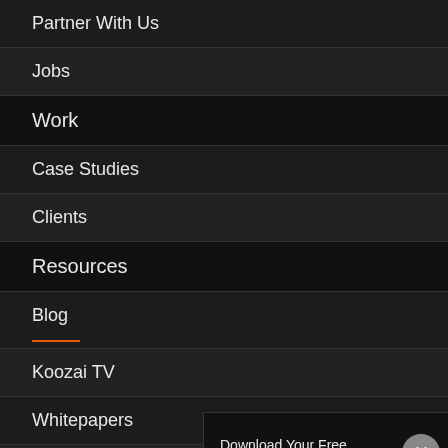Partner With Us
Jobs
Work
Case Studies
Clients
Resources
Blog
Koozai TV
Whitepapers
Koozmail
Download Your Free Whitepaper